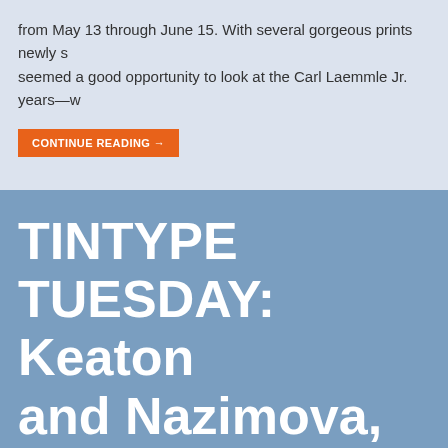from May 13 through June 15. With several gorgeous prints newly s… seemed a good opportunity to look at the Carl Laemmle Jr. years—w…
CONTINUE READING →
TINTYPE TUESDAY: Keaton and Nazimova, Ready for Th… Rice Close-Ups
SISTERCELLULOID ♦ NOVEMBER 4, 2015 ♦ 10 COMMENTS
Welcome to another edition of TINTYPE TUESDAY! When you think… pops to mind? George Hurrell, Clarence Bull, Ruth Harriett Louise? When it comes to recognition, Rice seems to have been left largely… his work as something about featuring portraits in still life…